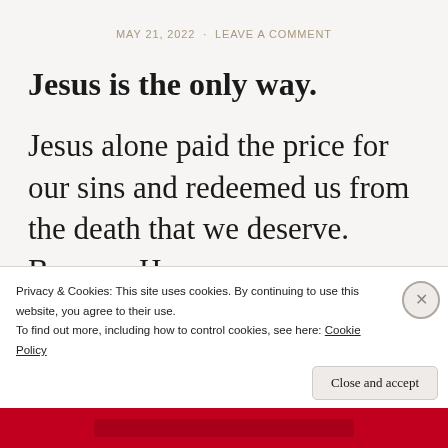MAY 21, 2022 · LEAVE A COMMENT
Jesus is the only way.
Jesus alone paid the price for our sins and redeemed us from the death that we deserve. Because He [continues below fold]
Privacy & Cookies: This site uses cookies. By continuing to use this website, you agree to their use. To find out more, including how to control cookies, see here: Cookie Policy